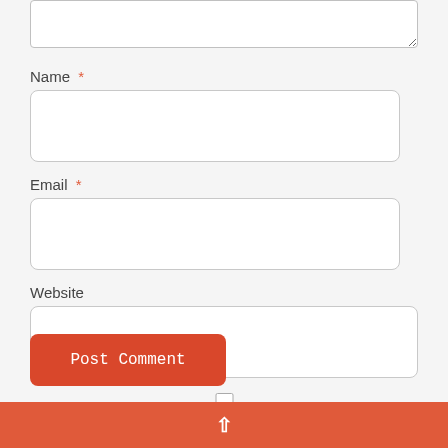[Figure (screenshot): Partial textarea at top of page, cut off]
Name *
[Figure (screenshot): Empty Name input field, rounded rectangle border]
Email *
[Figure (screenshot): Empty Email input field, rounded rectangle border]
Website
[Figure (screenshot): Empty Website input field, rounded rectangle border]
[Figure (screenshot): Unchecked checkbox]
Save my name, email, and website in this browser for the next time I comment.
[Figure (screenshot): Post Comment button, orange-red rounded rectangle]
^